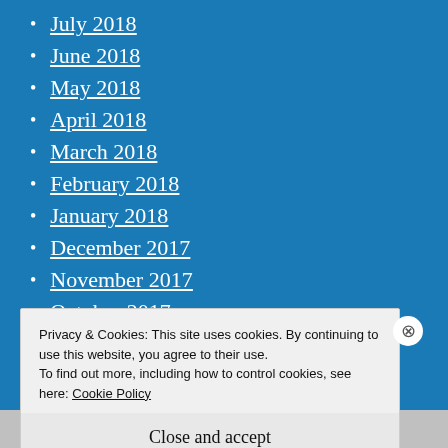July 2018
June 2018
May 2018
April 2018
March 2018
February 2018
January 2018
December 2017
November 2017
October 2017
September 2017
Privacy & Cookies: This site uses cookies. By continuing to use this website, you agree to their use.
To find out more, including how to control cookies, see here: Cookie Policy
Close and accept